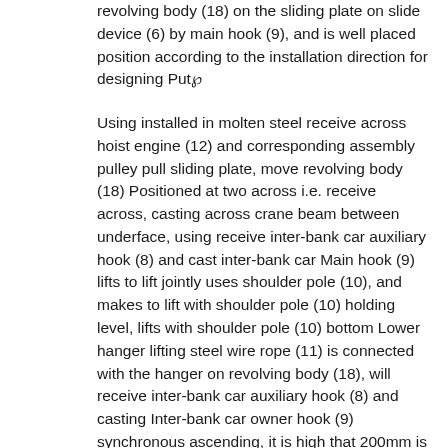revolving body (18) on the sliding plate on slide device (6) by main hook (9), and is well placed position according to the installation direction for designing Put␘
Using installed in molten steel receive across hoist engine (12) and corresponding assembly pulley pull sliding plate, move revolving body (18) Positioned at two across i.e. receive across, casting across crane beam between underface, using receive inter-bank car auxiliary hook (8) and cast inter-bank car Main hook (9) lifts to lift jointly uses shoulder pole (10), and makes to lift with shoulder pole (10) holding level, lifts with shoulder pole (10) bottom Lower hanger lifting steel wire rope (11) is connected with the hanger on revolving body (18), will receive inter-bank car auxiliary hook (8) and casting Inter-bank car owner hook (9) synchronous ascending, it is high that 200mm is hung in first examination, after observation checks that change normal, without exception is hung in examination, continues to lift by crane, when The sling height of the bottom surface of revolving body (18) stops rising after being higher by the upper surface 300mm of base (7), will then receive inter-bank car Auxiliary hook (8) and casting inter-bank car owner hook (9) synchronously decline, and revolving body (18) is mobile in place to base (7), according to design, look for Positive revolving body (18), bolt is